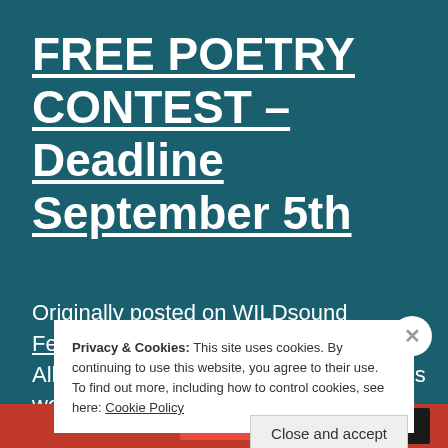FREE POETRY CONTEST – Deadline September 5th
Originally posted on WILDsound Festival: All entries get their POEM shown on this website. AND, you can submit your Poem to be...
Privacy & Cookies: This site uses cookies. By continuing to use this website, you agree to their use. To find out more, including how to control cookies, see here: Cookie Policy
Close and accept